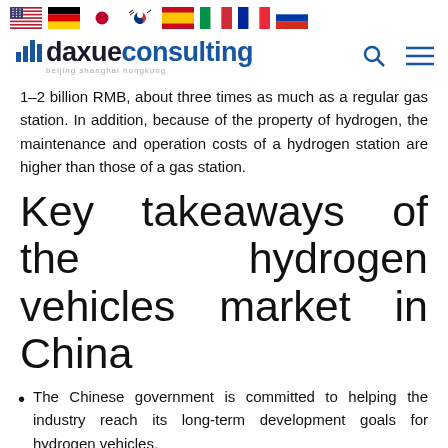Flags: US, Germany, Japan, South Korea, Spain, Italy, France, Russia
[Figure (logo): Daxue Consulting logo with bar chart icon and tagline 'beijing shanghai hongkong']
1–2 billion RMB, about three times as much as a regular gas station. In addition, because of the property of hydrogen, the maintenance and operation costs of a hydrogen station are higher than those of a gas station.
Key takeaways of the hydrogen vehicles market in China
The Chinese government is committed to helping the industry reach its long-term development goals for hydrogen vehicles.